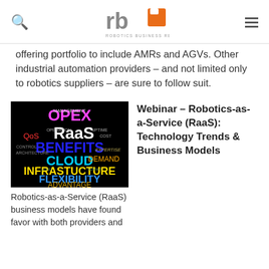Robotics Business Review
offering portfolio to include AMRs and AGVs. Other industrial automation providers – and not limited only to robotics suppliers – are sure to follow suit.
[Figure (illustration): Word cloud on black background featuring terms related to Robotics-as-a-Service: OPEX, RaaS, BENEFITS, CLOUD, INFRASTUCTURE, FLEXIBILITY, ADVANTAGE, QoS, Management, Operation, Uptime, Cost, Control, Architecture, Demand, Expertise]
Webinar – Robotics-as-a-Service (RaaS): Technology Trends & Business Models
Robotics-as-a-Service (RaaS) business models have found favor with both providers and